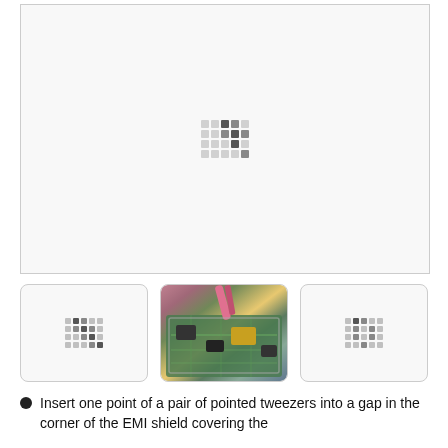[Figure (photo): Large main image placeholder with loading indicator dots, showing a white/light gray box with a small grid of dots in the center]
[Figure (photo): Thumbnail 1: placeholder with small dot grid]
[Figure (photo): Thumbnail 2: photo of a circuit board/PCB with EMI shield, showing green PCB with components and a hand/tool at top]
[Figure (photo): Thumbnail 3: placeholder with small dot grid]
Insert one point of a pair of pointed tweezers into a gap in the corner of the EMI shield covering the